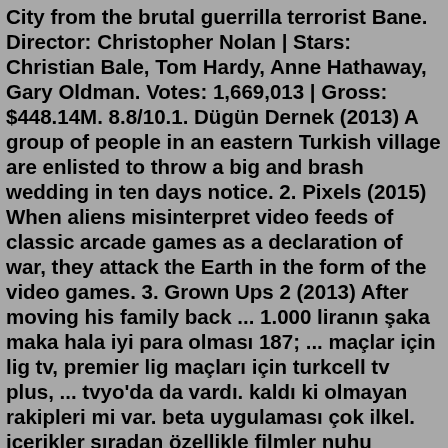City from the brutal guerrilla terrorist Bane. Director: Christopher Nolan | Stars: Christian Bale, Tom Hardy, Anne Hathaway, Gary Oldman. Votes: 1,669,013 | Gross: $448.14M. 8.8/10.1. Dügün Dernek (2013) A group of people in an eastern Turkish village are enlisted to throw a big and brash wedding in ten days notice. 2. Pixels (2015) When aliens misinterpret video feeds of classic arcade games as a declaration of war, they attack the Earth in the form of the video games. 3. Grown Ups 2 (2013) After moving his family back ... 1.000 liranın şaka maka hala iyi para olması 187; ... maçlar için lig tv, premier lig maçları için turkcell tv plus, ... tvyo'da da vardı. kaldı ki olmayan rakipleri mi var. beta uygulaması çok ilkel. içerikler sıradan özellikle filmler nuhu nebiden kalma. çok çalışmaları lazım çooookkkk. ziktirik.Turkcell TV+ için yazılan Tv Plus ve Yeni Filmler şikayetleri için tıklayın! Turkcell TV+ hakkında kullanıcı yorumları, Tv Plus ve Yeni Filmler şikayetleri sikayetvar.com'da!En iyi korku filmlerini TV+ kalitesi ile evinize taşıyabilirsiniz. İngilizce, Türkce alt